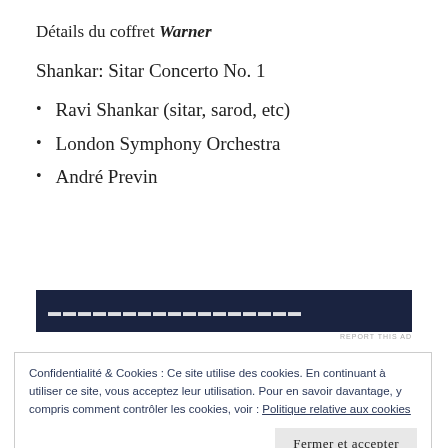Détails du coffret Warner
Shankar: Sitar Concerto No. 1
Ravi Shankar (sitar, sarod, etc)
London Symphony Orchestra
André Previn
[Figure (other): Dark blue advertisement banner with white text, partially obscured]
REPORT THIS AD
Confidentialité & Cookies : Ce site utilise des cookies. En continuant à utiliser ce site, vous acceptez leur utilisation. Pour en savoir davantage, y compris comment contrôler les cookies, voir : Politique relative aux cookies
Fermer et accepter